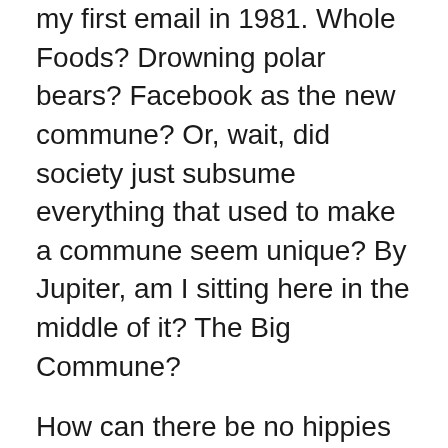my first email in 1981. Whole Foods? Drowning polar bears? Facebook as the new commune? Or, wait, did society just subsume everything that used to make a commune seem unique? By Jupiter, am I sitting here in the middle of it? The Big Commune?
How can there be no hippies but the proverbial “aging” hippies? What currently replaces the hippie urge? I googled “internet commune” with high hopes, dashed. The “Internet Collective” is, ugh, incorporated. Drug use? No, that’s so high school. Clothing easiness? Hey, I’m at work as I finally write this and you should see me. Those glimpses of commune life in “Into the Wild,” are they just Sean Penn’s surmise? Times are supposed to be hard; doesn’t that mean that there are plenty of post-college youth out there with nothing to do, not to mention boomers flashing back to their youthful roots, and disaffected x- and